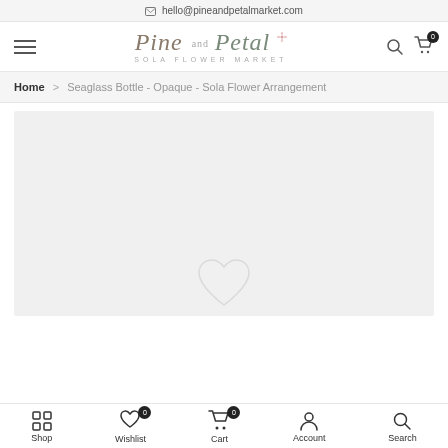hello@pineandpetalmarket.com
[Figure (logo): Pine and Petal Sola Flower Market logo with hamburger menu, search icon, and cart icon with badge showing 0]
Home > Seaglass Bottle - Opaque - Sola Flower Arrangement
[Figure (photo): Product image area - light gray placeholder for Seaglass Bottle Opaque Sola Flower Arrangement with faint heart icon at bottom]
Shop | Wishlist 0 | Cart 0 | Account | Search